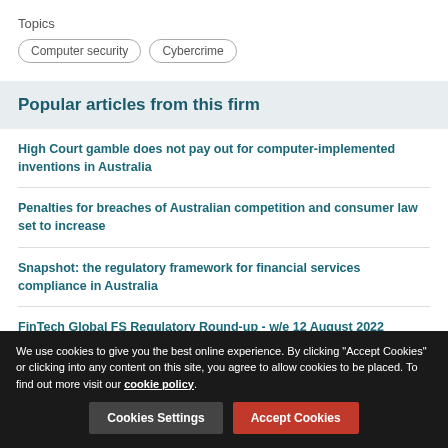Topics
Computer security
Cybercrime
Popular articles from this firm
High Court gamble does not pay out for computer-implemented inventions in Australia
Penalties for breaches of Australian competition and consumer law set to increase
Snapshot: the regulatory framework for financial services compliance in Australia
FinTech Global FS Regulatory Round-up - w/e 12 August 2022
We use cookies to give you the best online experience. By clicking "Accept Cookies" or clicking into any content on this site, you agree to allow cookies to be placed. To find out more visit our cookie policy.